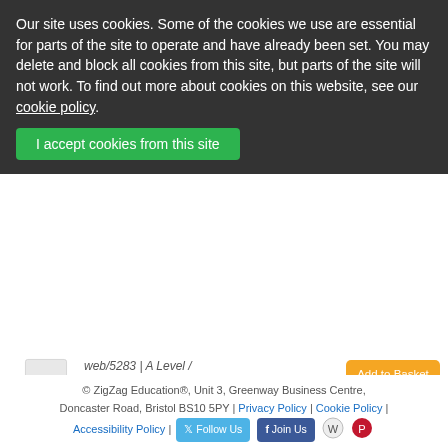Our site uses cookies. Some of the cookies we use are essential for parts of the site to operate and have already been set. You may delete and block all cookies from this site, but parts of the site will not work. To find out more about cookies on this website, see our cookie policy.
I accept cookies from this site
web/5283 | A Level / OCR / Physics A - Topic on a Page
Add to Basket
Topic Tests for A Level Year 1 OCR Physics A (Modules 2, 3 and 4)
$101.63
web/6628 | A Level / OCR / Physics A - Topic Tests
Add to Basket
© ZigZag Education®, Unit 3, Greenway Business Centre, Doncaster Road, Bristol BS10 5PY | Privacy Policy | Cookie Policy | Accessibility Policy | Follow Us | Join Us